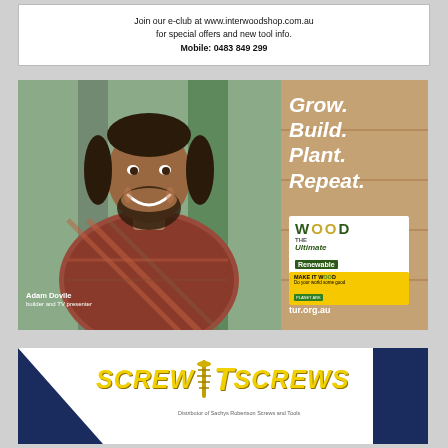[Figure (other): Top advertisement for Interwood Shop. White box with text: Join our e-club at www.interwoodshop.com.au for special offers and new tool info. Mobile: 0483 849 299]
[Figure (photo): Advertisement showing Adam Dovile, builder and TV presenter, smiling, wearing a plaid shirt, with wood panel background on right side. Right panel has tan/wood texture background with white bold italic text: Grow. Build. Plant. Repeat. Below that: WOOD The Ultimate Renewable logo, MAKE IT WOOD Planet Ark badge, and URL tur.org.au]
[Figure (logo): Bottom advertisement for Screw It Screws. Dark blue triangle on left, yellow italic bold text SCREW T SCREWS with screw icon in center-T, smaller text: Distributor of Sachys Robertson Screws and Tools. Dark blue panel on right.]